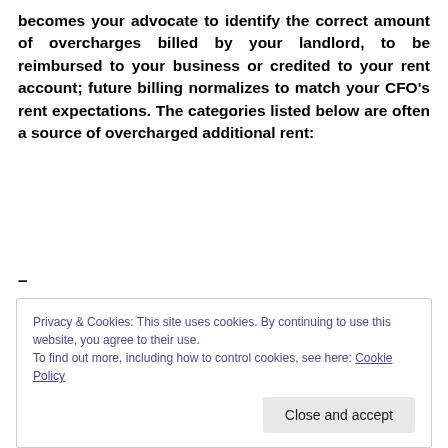becomes your advocate to identify the correct amount of overcharges billed by your landlord, to be reimbursed to your business or credited to your rent account; future billing normalizes to match your CFO's rent expectations. The categories listed below are often a source of overcharged additional rent:
–
Building Maintenance costs
Capital expenditures passed along as ordinary repairs and maintenance
Privacy & Cookies: This site uses cookies. By continuing to use this website, you agree to their use.
To find out more, including how to control cookies, see here: Cookie Policy